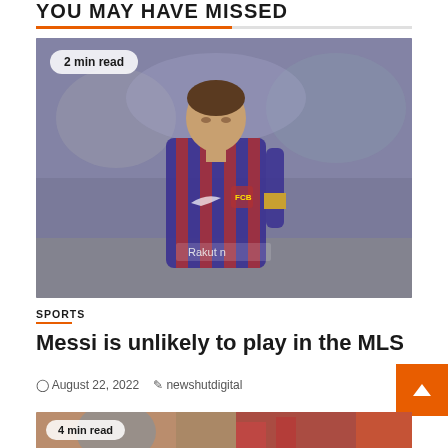YOU MAY HAVE MISSED
[Figure (photo): Soccer player wearing FC Barcelona blue and red striped jersey with Rakuten sponsor, standing on pitch in front of crowd]
2 min read
SPORTS
Messi is unlikely to play in the MLS
August 22, 2022  newshutdigital
[Figure (photo): Partial photo of a person, bottom portion visible, with colorful background]
4 min read